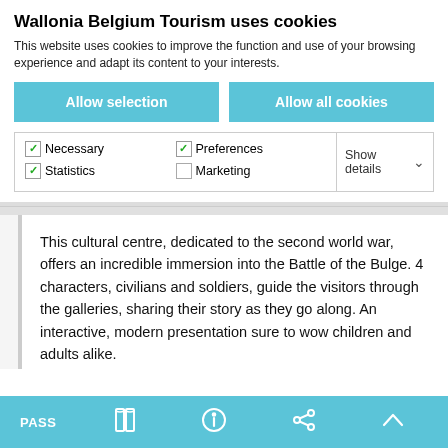Wallonia Belgium Tourism uses cookies
This website uses cookies to improve the function and use of your browsing experience and adapt its content to your interests.
Allow selection
Allow all cookies
Necessary   Preferences   Statistics   Marketing   Show details
This cultural centre, dedicated to the second world war, offers an incredible immersion into the Battle of the Bulge. 4 characters, civilians and soldiers, guide the visitors through the galleries, sharing their story as they go along. An interactive, modern presentation sure to wow children and adults alike.
PASS